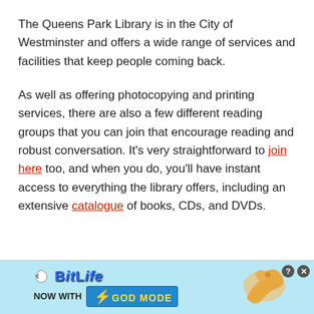The Queens Park Library is in the City of Westminster and offers a wide range of services and facilities that keep people coming back.
As well as offering photocopying and printing services, there are also a few different reading groups that you can join that encourage reading and robust conversation. It's very straightforward to join here too, and when you do, you'll have instant access to everything the library offers, including an extensive catalogue of books, CDs, and DVDs.
[Figure (other): Advertisement banner for BitLife game featuring 'NOW WITH GOD MODE' text, a lightning bolt graphic, and a pointing hand illustration, with help and close buttons.]